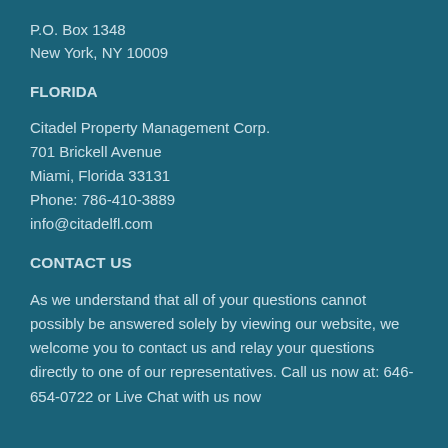P.O. Box 1348
New York, NY 10009
FLORIDA
Citadel Property Management Corp.
701 Brickell Avenue
Miami, Florida 33131
Phone: 786-410-3889
info@citadelfl.com
CONTACT US
As we understand that all of your questions cannot possibly be answered solely by viewing our website, we welcome you to contact us and relay your questions directly to one of our representatives. Call us now at: 646-654-0722 or Live Chat with us now